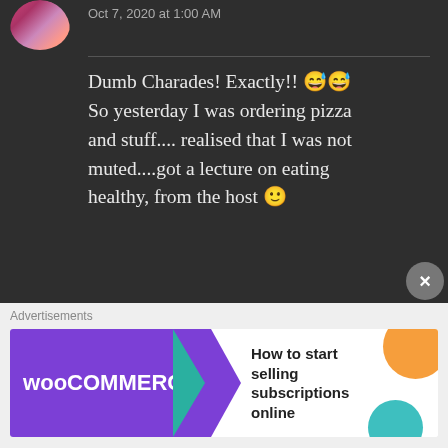Oct 7, 2020 at 1:00 AM
Dumb Charades! Exactly!! 😅😅 So yesterday I was ordering pizza and stuff.... realised that I was not muted....got a lecture on eating healthy, from the host 🙂
★ Liked by 2 people
THE BOLD GIRL says: Reply
Oct 7, 2020 at 1:07 AM
Ahahaha..😅
Advertisements
[Figure (screenshot): WooCommerce advertisement banner: 'How to start selling subscriptions online']